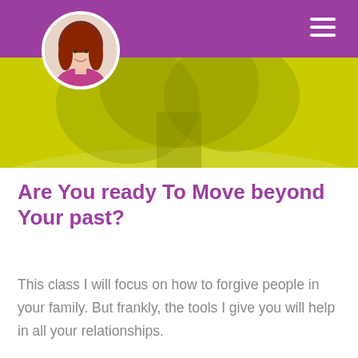[Figure (illustration): Website header with purple navigation bar, circular avatar photo of a woman with red hair, hamburger menu icon, and a yellow-green background with a faded tree silhouette.]
Are You ready To Move beyond Your past?
This class I will focus on how to forgive people in your family. But frankly, the tools I give you will help in all your relationships.